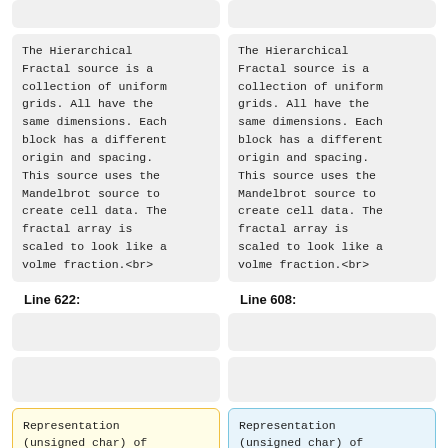[empty box top left]
[empty box top right]
The Hierarchical Fractal source is a collection of uniform grids. All have the same dimensions. Each block has a different origin and spacing. This source uses the Mandelbrot source to create cell data. The fractal array is scaled to look like a volme fraction.<br>
The Hierarchical Fractal source is a collection of uniform grids. All have the same dimensions. Each block has a different origin and spacing. This source uses the Mandelbrot source to create cell data. The fractal array is scaled to look like a volme fraction.<br>
Line 622:
Line 608:
[empty box]
[empty box]
[empty box]
[empty box]
Representation (unsigned char) of
Representation (unsigned char) of